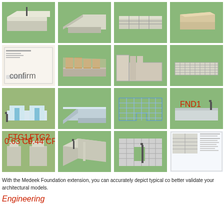[Figure (illustration): Grid of 3D architectural/foundation model screenshots from Medeek Foundation SketchUp extension, showing slabs, footings, walls, and foundation elements in green-tinted 3D views. 4 columns x 4 rows = 16 thumbnails total.]
With the Medeek Foundation extension, you can accurately depict typical co better validate your architectural models.
Engineering